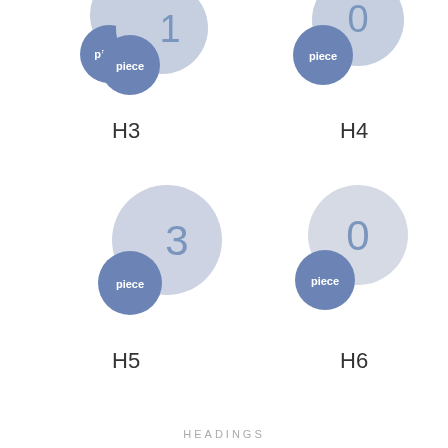[Figure (infographic): H3 bubble diagram: large light blue circle with number '1' and smaller dark blue circle labeled 'piece']
H3
[Figure (infographic): H4 bubble diagram: large light blue circle with number '0' and smaller dark blue circle labeled 'piece']
H4
[Figure (infographic): H5 bubble diagram: large light blue circle with number '3' and smaller dark blue circle labeled 'piece']
H5
[Figure (infographic): H6 bubble diagram: large light blue circle with number '0' and smaller dark blue circle labeled 'piece']
H6
HEADINGS